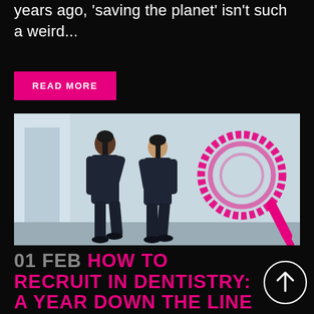years ago, 'saving the planet' isn't such a weird...
READ MORE
[Figure (photo): Two dental workers in dark scrubs walking down a hallway viewed from behind, with a large pink hand-drawn magnifying glass graphic overlaid on the right side of the image]
01 FEB HOW TO RECRUIT IN DENTISTRY: A YEAR DOWN THE LINE